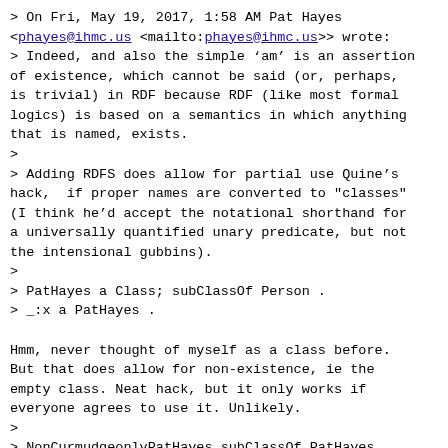> On Fri, May 19, 2017, 1:58 AM Pat Hayes <phayes@ihmc.us <mailto:phayes@ihmc.us>> wrote:
> Indeed, and also the simple 'am' is an assertion of existence, which cannot be said (or, perhaps, is trivial) in RDF because RDF (like most formal logics) is based on a semantics in which anything that is named, exists.
>
> Adding RDFS does allow for partial use Quine's hack,  if proper names are converted to "classes" (I think he'd accept the notational shorthand for a universally quantified unary predicate, but not the intensional gubbins).
>
> PatHayes a Class; subClassOf Person .
> _:x a PatHayes .

Hmm, never thought of myself as a class before. But that does allow for non-existence, ie the empty class. Neat hack, but it only works if everyone agrees to use it. Unlikely.
>
> NonCurmudgeonlyPatHayes subClassOf PatHayes, NonCurmudgeonlyThing
>  #     ;sameAs Unicorn #  wvoq@harvard.edu <mailto:wvoq@harvard.edu>
> .
>>
>> Would it be cheating to represent things as an